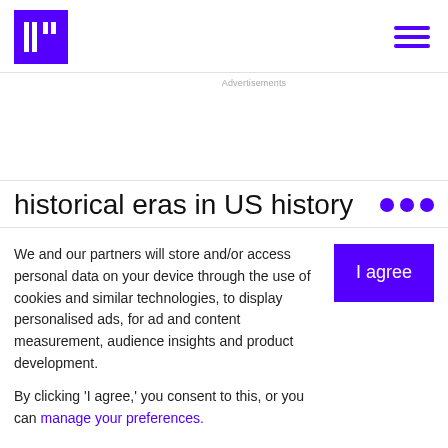Advertisements
historical eras in US history
We and our partners will store and/or access personal data on your device through the use of cookies and similar technologies, to display personalised ads, for ad and content measurement, audience insights and product development.
By clicking 'I agree,' you consent to this, or you can manage your preferences.